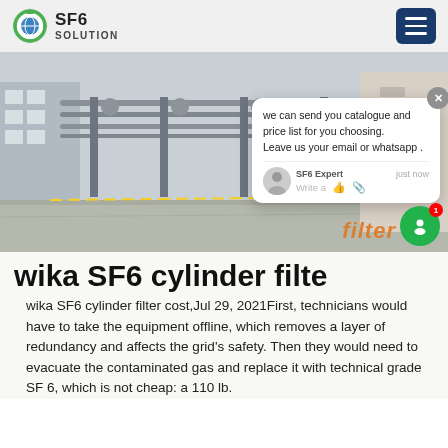SF6 SOLUTION
[Figure (photo): Industrial SF6 gas equipment facility with pipes, cylinders and infrastructure outdoors]
[Figure (screenshot): Chat popup: 'we can send you catalogue and price list for you choosing. Leave us your email or whatsapp .' from SF6 Expert, just now]
wika SF6 cylinder filte
wika SF6 cylinder filter cost,Jul 29, 2021First, technicians would have to take the equipment offline, which removes a layer of redundancy and affects the grid's safety. Then they would need to evacuate the contaminated gas and replace it with technical grade SF 6, which is not cheap: a 110 lb.